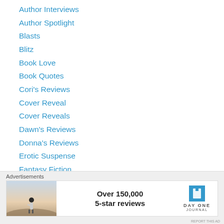Author Interviews
Author Spotlight
Blasts
Blitz
Book Love
Book Quotes
Cori's Reviews
Cover Reveal
Cover Reveals
Dawn's Reviews
Donna's Reviews
Erotic Suspense
Fantasy Fiction
Features
Features, Blitz, Blasts
Free Ebooks & Deals
[Figure (infographic): Advertisement banner with man on cliff photo on left, 'Over 150,000 5-star reviews' text in center, and Day One Journal logo on right]